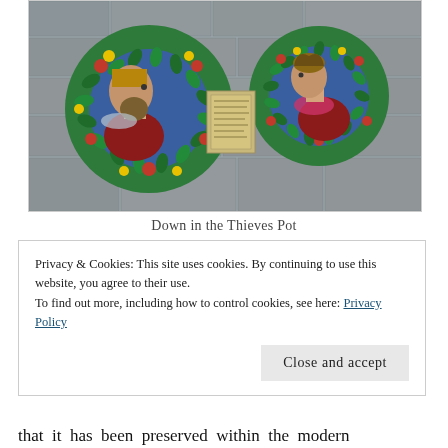[Figure (photo): Two colorful circular ceramic/plaster relief medallions mounted on a stone wall. The left medallion shows a bearded male figure in profile facing right, framed by a green wreath with red and yellow flowers and fruits. The right medallion shows a female figure in profile facing left, wearing a pink/red garment, similarly framed. Between them hangs a small rectangular informational plaque.]
Down in the Thieves Pot
Privacy & Cookies: This site uses cookies. By continuing to use this website, you agree to their use.
To find out more, including how to control cookies, see here: Privacy Policy
Close and accept
that it has been preserved within the modern